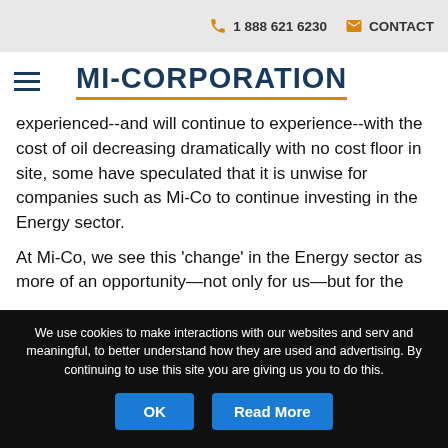1 888 621 6230   CONTACT
MI-CORPORATION
experienced--and will continue to experience--with the cost of oil decreasing dramatically with no cost floor in site, some have speculated that it is unwise for companies such as Mi-Co to continue investing in the Energy sector.
At Mi-Co, we see this ‘change’ in the Energy sector as more of an opportunity—not only for us—but for the
We use cookies to make interactions with our websites and serv and meaningful, to better understand how they are used and advertising. By continuing to use this site you are giving us you to do this.